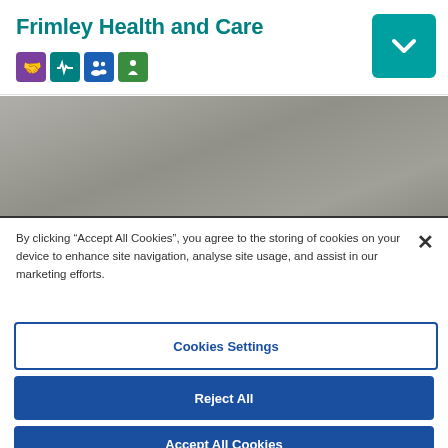Frimley Health and Care
[Figure (logo): Four coloured icon badges representing NHS/health services]
[Figure (photo): Grey/silver toned hero banner image, blurred background]
By clicking “Accept All Cookies”, you agree to the storing of cookies on your device to enhance site navigation, analyse site usage, and assist in our marketing efforts.
Cookies Settings
Reject All
Accept All Cookies